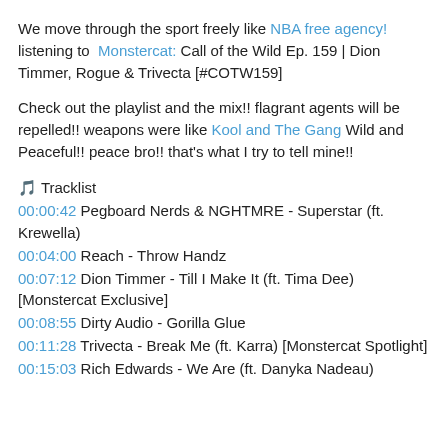We move through the sport freely like NBA free agency! listening to Monstercat: Call of the Wild Ep. 159 | Dion Timmer, Rogue & Trivecta [#COTW159]
Check out the playlist and the mix!! flagrant agents will be repelled!! weapons were like Kool and The Gang Wild and Peaceful!! peace bro!! that's what I try to tell mine!!
🎵 Tracklist
00:00:42 Pegboard Nerds & NGHTMRE - Superstar (ft. Krewella)
00:04:00 Reach - Throw Handz
00:07:12 Dion Timmer - Till I Make It (ft. Tima Dee) [Monstercat Exclusive]
00:08:55 Dirty Audio - Gorilla Glue
00:11:28 Trivecta - Break Me (ft. Karra) [Monstercat Spotlight]
00:15:03 Rich Edwards - We Are (ft. Danyka Nadeau)